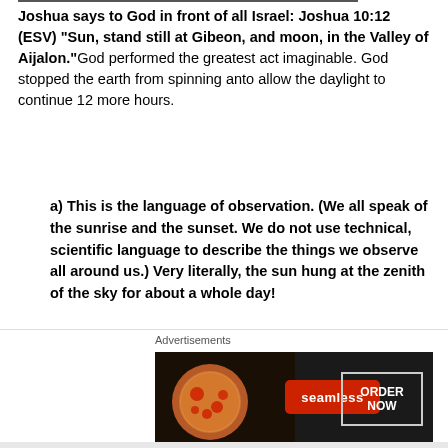Joshua says to God in front of all Israel: Joshua 10:12 (ESV) “Sun, stand still at Gibeon, and moon, in the Valley of Aijalon.”God performed the greatest act imaginable. God stopped the earth from spinning anto allow the daylight to continue 12 more hours.
a) This is the language of observation. (We all speak of the sunrise and the sunset. We do not use technical, scientific language to describe the things we observe all around us.) Very literally, the sun hung at the zenith of the sky for about a whole day!
b) Ancient history supports this claim. (The
[Figure (other): Seamless food delivery advertisement banner with pizza image, Seamless logo button, and ORDER NOW button]